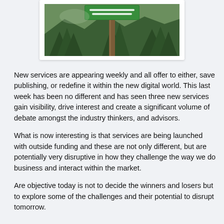[Figure (photo): Photograph of a green road sign on a wooden post surrounded by trees, partially cropped at the top. The sign and trees are visible; mountains in the background.]
New services are appearing weekly and all offer to either, save publishing, or redefine it within the new digital world. This last week has been no different and has seen three new services gain visibility, drive interest and create a significant volume of debate amongst the industry thinkers, and advisors.
What is now interesting is that services are being launched with outside funding and these are not only different, but are potentially very disruptive in how they challenge the way we do business and interact within the market.
Are objective today is not to decide the winners and losers but to explore some of the challenges and their potential to disrupt tomorrow.